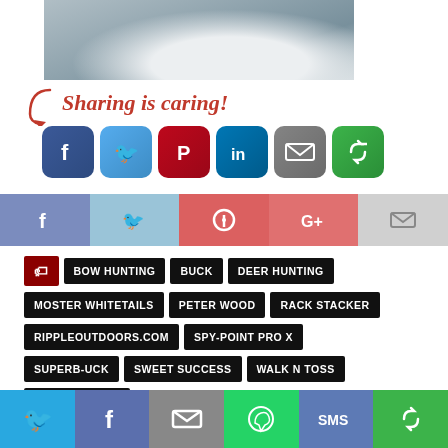[Figure (photo): Winter snow scene photo with bare branches, partially visible at top of page]
Sharing is caring!
[Figure (infographic): Row of social share icon buttons: Facebook, Twitter, Pinterest, LinkedIn, Email, Share]
[Figure (infographic): Horizontal share bar with Facebook, Twitter, Pinterest, Google+, Email icons]
BOW HUNTING
BUCK
DEER HUNTING
MOSTER WHITETAILS
PETER WOOD
RACK STACKER
RIPPLEOUTDOORS.COM
SPY-POINT PRO X
SUPERB-UCK
SWEET SUCCESS
WALK N TOSS
WILD TURKEYS
[Figure (infographic): Bottom social share bar with Twitter, Facebook, Email, WhatsApp, SMS, Share buttons]